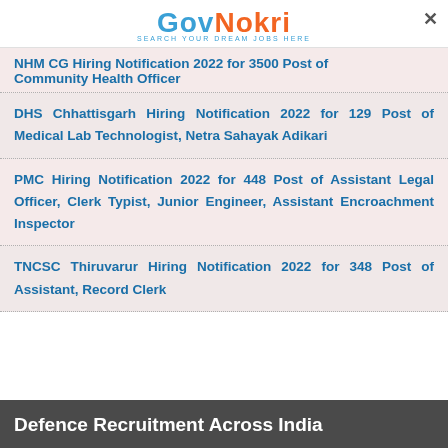[Figure (logo): GovNokri logo with tagline 'Search Your Dream Jobs Here']
NHM CG Hiring Notification 2022 for 3500 Post of Community Health Officer
DHS Chhattisgarh Hiring Notification 2022 for 129 Post of Medical Lab Technologist, Netra Sahayak Adikari
PMC Hiring Notification 2022 for 448 Post of Assistant Legal Officer, Clerk Typist, Junior Engineer, Assistant Encroachment Inspector
TNCSC Thiruvarur Hiring Notification 2022 for 348 Post of Assistant, Record Clerk
Defence Recruitment Across India